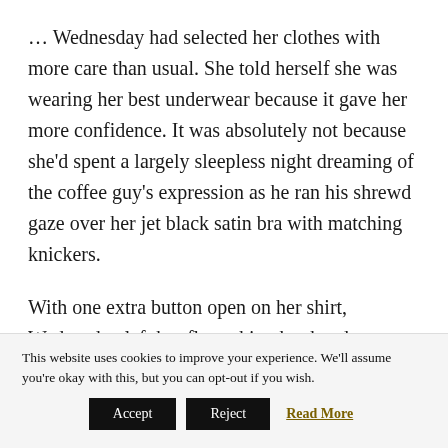… Wednesday had selected her clothes with more care than usual. She told herself she was wearing her best underwear because it gave her more confidence. It was absolutely not because she'd spent a largely sleepless night dreaming of the coffee guy's expression as he ran his shrewd gaze over her jet black satin bra with matching knickers.
With one extra button open on her shirt, Wednesday left her flat, raking her hand restlessly through her long chestnut hair. She kept telling herself that he was just a
This website uses cookies to improve your experience. We'll assume you're okay with this, but you can opt-out if you wish.
Accept | Reject | Read More